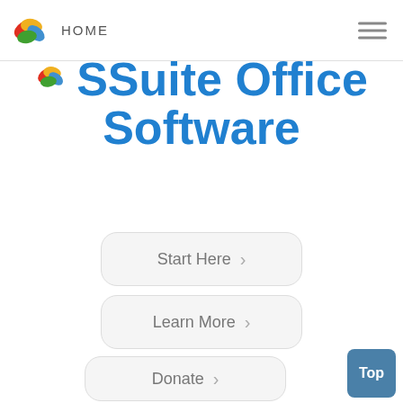HOME
SSuite Office Software
Start Here >
Learn More >
Donate >